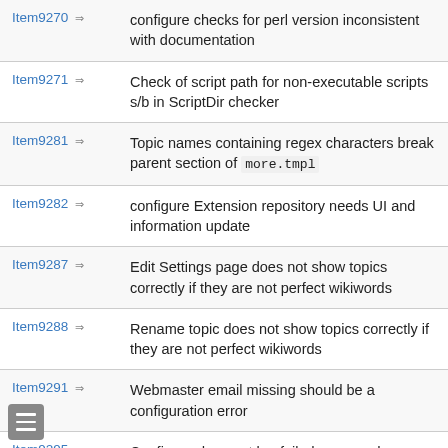| Item | Description |
| --- | --- |
| Item9270 | configure checks for perl version inconsistent with documentation |
| Item9271 | Check of script path for non-executable scripts s/b in ScriptDir checker |
| Item9281 | Topic names containing regex characters break parent section of more.tmpl |
| Item9282 | configure Extension repository needs UI and information update |
| Item9287 | Edit Settings page does not show topics correctly if they are not perfect wikiwords |
| Item9288 | Rename topic does not show topics correctly if they are not perfect wikiwords |
| Item9291 | Webmaster email missing should be a configuration error |
| Item9295 | Configure does not log failed password attempts |
| Item9325 | Finnish translation |